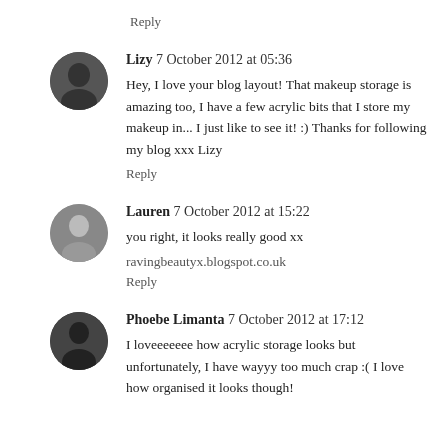Reply
Lizy 7 October 2012 at 05:36
Hey, I love your blog layout! That makeup storage is amazing too, I have a few acrylic bits that I store my makeup in... I just like to see it! :) Thanks for following my blog xxx Lizy
Reply
Lauren 7 October 2012 at 15:22
you right, it looks really good xx
ravingbeautyx.blogspot.co.uk
Reply
Phoebe Limanta 7 October 2012 at 17:12
I loveeeeeee how acrylic storage looks but unfortunately, I have wayyy too much crap :( I love how organised it looks though!